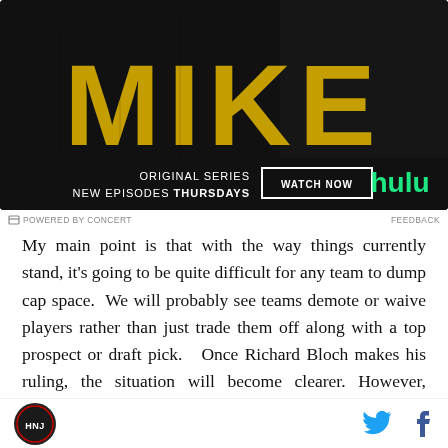[Figure (screenshot): Hulu advertisement for MIKE original series. Black background with large yellow distressed text reading MIKE. Bottom section shows: ORIGINAL SERIES / NEW EPISODES THURSDAYS, a WATCH NOW button, and the Hulu logo in green.]
POWERED BY CONCERT    FEEDBACK
My main point is that with the way things currently stand, it's going to be quite difficult for any team to dump cap space. We will probably see teams demote or waive players rather than just trade them off along with a top prospect or draft pick. Once Richard Bloch makes his ruling, the situation will become clearer. However, should Kovalchuk remain a Devil, the cap
[Figure (logo): Hockey NJ site logo - circular dark badge]